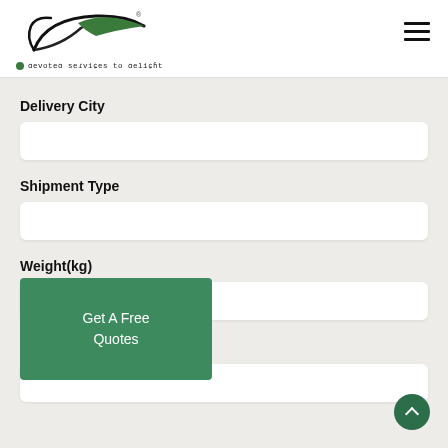[Figure (logo): Company logo with stylized bird/curve design and tagline 'devoted services to delight']
Delivery City
Shipment Type
Weight(kg)
Get A Free Quotes
Special Info